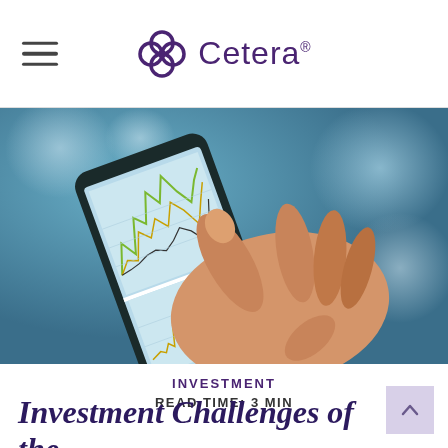Cetera
[Figure (photo): Hand holding a smartphone displaying financial charts and graphs with line charts showing market data, finger touching the screen]
INVESTMENT
READ TIME: 3 MIN
Investment Challenges of the